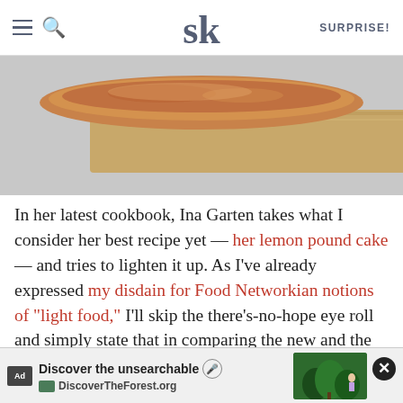SK — SURPRISE!
[Figure (photo): Close-up photo of a golden baked pound cake on a wooden cutting board, viewed from above. The top crust is browned.]
In her latest cookbook, Ina Garten takes what I consider her best recipe yet — her lemon pound cake — and tries to lighten it up. As I've already expressed my disdain for Food Networkian notions of "light food," I'll skip the there's-no-hope eye roll and simply state that in comparing the new and the old recipes, the butter is replaced with an equal amount oil, one-third of a cup of buttermilk is replaced with one cup of whole milk yogurt, and an extra egg is added and in the "lighter version." That sa... th whatev... that
[Figure (screenshot): Ad banner overlay: 'Discover the unsearchable' — DiscoverTheForest.org with forest imagery and a close button (X).]